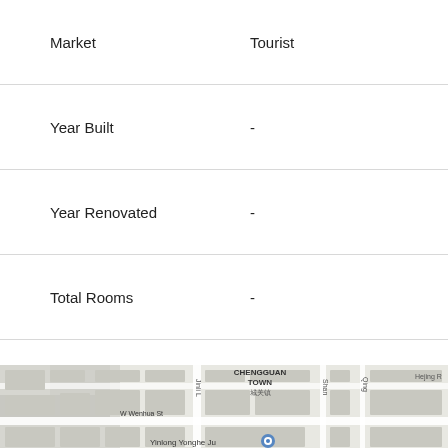| Field | Value |
| --- | --- |
| Market | Tourist |
| Year Built | - |
| Year Renovated | - |
| Total Rooms | - |
| Check In | 14:00:00 |
| Check Out | 12:00:00 |
| Last Updated | 7/15/2021, 7:22:07 PM |
[Figure (map): Street map showing Chengguan Town area with streets including Jinli L, W Wenhua St, Shan, Qing, Hejing R, and Yinlong Yonghe Ju]